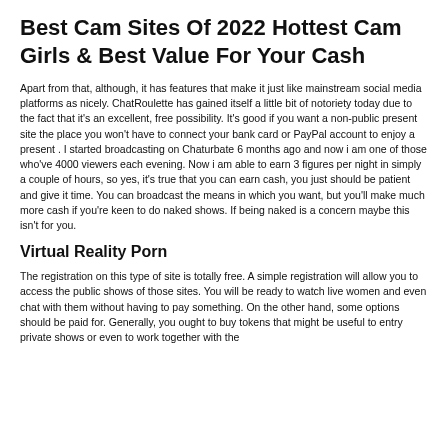Best Cam Sites Of 2022 Hottest Cam Girls & Best Value For Your Cash
Apart from that, although, it has features that make it just like mainstream social media platforms as nicely. ChatRoulette has gained itself a little bit of notoriety today due to the fact that it's an excellent, free possibility. It's good if you want a non-public present site the place you won't have to connect your bank card or PayPal account to enjoy a present . I started broadcasting on Chaturbate 6 months ago and now i am one of those who've 4000 viewers each evening. Now i am able to earn 3 figures per night in simply a couple of hours, so yes, it's true that you can earn cash, you just should be patient and give it time. You can broadcast the means in which you want, but you'll make much more cash if you're keen to do naked shows. If being naked is a concern maybe this isn't for you.
Virtual Reality Porn
The registration on this type of site is totally free. A simple registration will allow you to access the public shows of those sites. You will be ready to watch live women and even chat with them without having to pay something. On the other hand, some options should be paid for. Generally, you ought to buy tokens that might be useful to entry private shows or even to work together with the